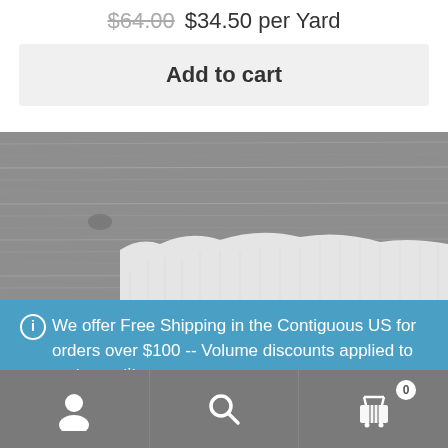$64.00  $34.50 per Yard
Add to cart
[Figure (photo): Product photo showing white fabric on a gray weathered wood background]
We offer Free Shipping in the Contiguous US for orders over $100 -- Volume discounts applied to cart quantity. Dismiss
[Figure (infographic): Bottom navigation bar with user account icon, search icon, and shopping cart icon with badge showing 0]